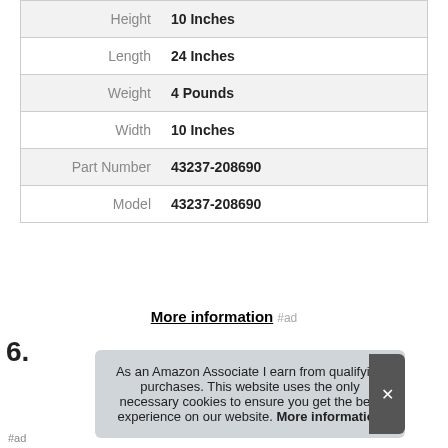| Attribute | Value |
| --- | --- |
| Height | 10 Inches |
| Length | 24 Inches |
| Weight | 4 Pounds |
| Width | 10 Inches |
| Part Number | 43237-208690 |
| Model | 43237-208690 |
More information #ad
6.
As an Amazon Associate I earn from qualifying purchases. This website uses the only necessary cookies to ensure you get the best experience on our website. More information
#ad